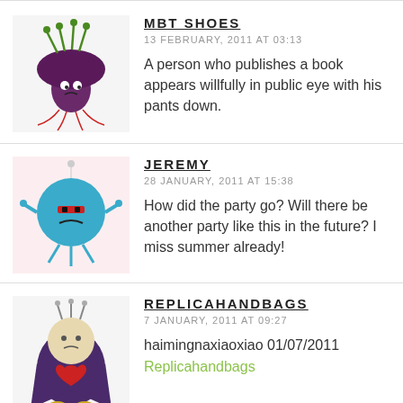[Figure (illustration): Cartoon avatar of a purple mushroom-like creature with green hair tendrils and red string legs]
MBT SHOES
13 FEBRUARY, 2011 AT 03:13
A person who publishes a book appears willfully in public eye with his pants down.
[Figure (illustration): Cartoon avatar of a blue round sad creature with stick legs]
JEREMY
28 JANUARY, 2011 AT 15:38
How did the party go? Will there be another party like this in the future? I miss summer already!
[Figure (illustration): Cartoon avatar of a purple cloaked round creature with red heart and small feet]
REPLICAHANDBAGS
7 JANUARY, 2011 AT 09:27
haimingnaxiaoxiao 01/07/2011
Replicahandbags